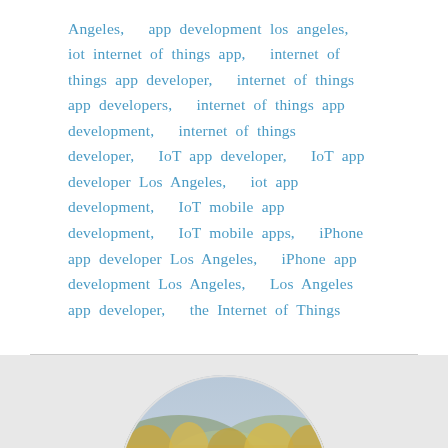Angeles,  app development los angeles,  iot internet of things app,  internet of things app developer,  internet of things app developers,  internet of things app development,  internet of things developer,  IoT app developer,  IoT app developer Los Angeles,  iot app development,  IoT mobile app development,  IoT mobile apps,  iPhone app developer Los Angeles,  iPhone app development Los Angeles,  Los Angeles app developer,  the Internet of Things
[Figure (photo): Circular profile photo of a person wearing a blue hijab, standing in front of a misty landscape with trees and water in the background]